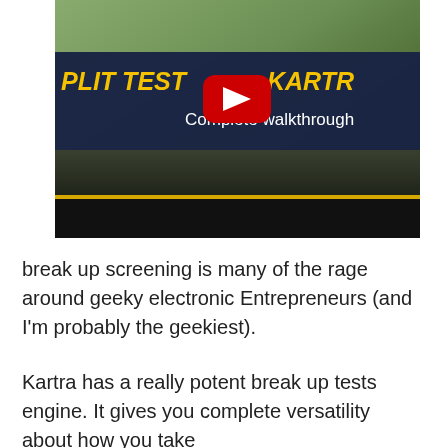[Figure (screenshot): YouTube video thumbnail showing a man outdoors with text overlay reading 'SPLIT TEST Pages In KARTRA – Complete walkthrough' with a red YouTube play button in the center]
break up screening is many of the rage around geeky electronic Entrepreneurs (and I'm probably the geekiest).
Kartra has a really potent break up tests engine. It gives you complete versatility about how you take